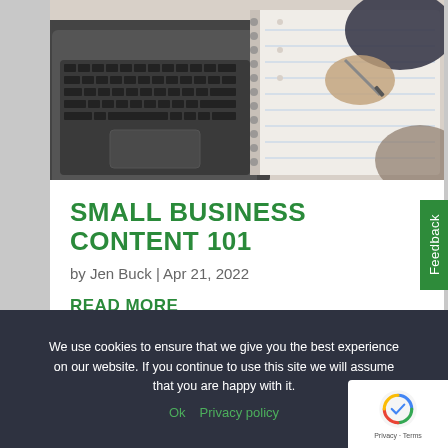[Figure (photo): Person writing in a notebook next to an open laptop computer, viewed from above. The laptop keyboard is visible on the left, and a hand holding a pen over a spiral notebook is visible on the right.]
SMALL BUSINESS CONTENT 101
by Jen Buck | Apr 21, 2022
READ MORE
Feedback
We use cookies to ensure that we give you the best experience on our website. If you continue to use this site we will assume that you are happy with it.
Ok   Privacy policy